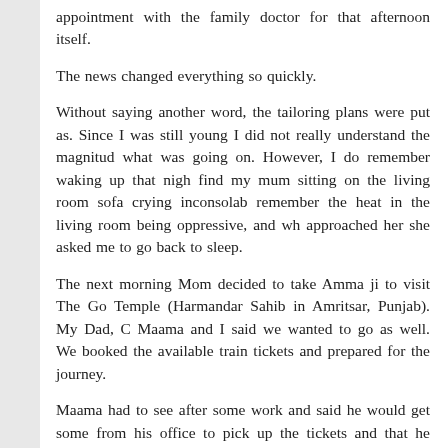appointment with the family doctor for that afternoon itself.
The news changed everything so quickly.
Without saying another word, the tailoring plans were put as. Since I was still young I did not really understand the magnitud what was going on. However, I do remember waking up that nigh find my mum sitting on the living room sofa crying inconsolab remember the heat in the living room being oppressive, and wh approached her she asked me to go back to sleep.
The next morning Mom decided to take Amma ji to visit The Go Temple (Harmandar Sahib in Amritsar, Punjab). My Dad, C Maama and I said we wanted to go as well. We booked the available train tickets and prepared for the journey.
Maama had to see after some work and said he would get some from his office to pick up the tickets and that he would meet us a station directly.
The ride to the station was harrowingly long. On the best days, Delhi's roads are congested beyond belief. Then, when it rains,